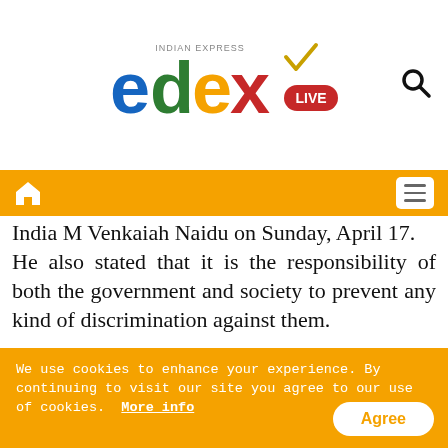[Figure (logo): Edex Live logo from Indian Express]
Navigation bar with home icon and menu
India M Venkaiah Naidu on Sunday, April 17. He also stated that it is the responsibility of both the government and society to prevent any kind of discrimination against them.
Stressing the need for creating an environment for them to thrive and excel, the Vice-President said, "they do not need our sympathy, they rightfully deserve every opportunity to develop their full potential."
It was while speaking at the National...
We use cookies to enhance your experience. By continuing to visit our site you agree to our use of cookies. More info Agree